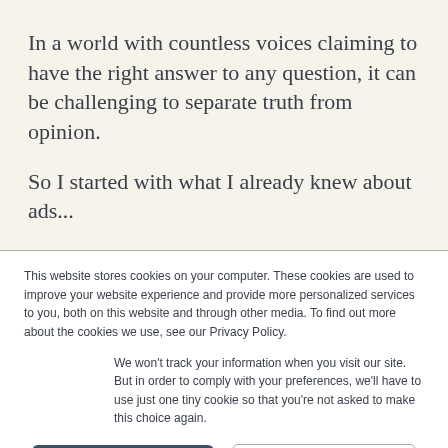In a world with countless voices claiming to have the right answer to any question, it can be challenging to separate truth from opinion.
So I started with what I already knew about ads...
This website stores cookies on your computer. These cookies are used to improve your website experience and provide more personalized services to you, both on this website and through other media. To find out more about the cookies we use, see our Privacy Policy.
We won't track your information when you visit our site. But in order to comply with your preferences, we'll have to use just one tiny cookie so that you're not asked to make this choice again.